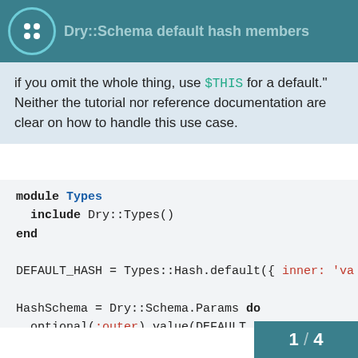Dry::Schema default hash members
if you omit the whole thing, use $THIS for a default." Neither the tutorial nor reference documentation are clear on how to handle this use case.
[Figure (screenshot): Code block showing Ruby module Types with Dry::Types(), DEFAULT_HASH assignment, and HashSchema Dry::Schema.Params definition with optional outer and inner hash fields]
1 / 4